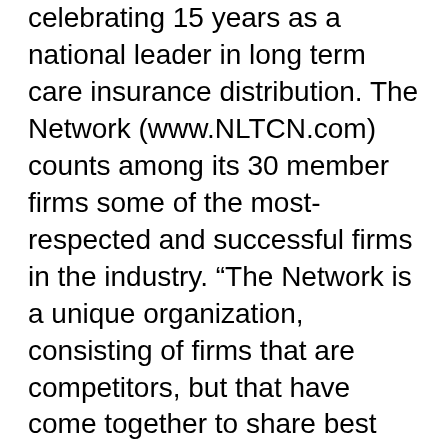celebrating 15 years as a national leader in long term care insurance distribution. The Network (www.NLTCN.com) counts among its 30 member firms some of the most-respected and successful firms in the industry. “The Network is a unique organization, consisting of firms that are competitors, but that have come together to share best practices and address common long-term care insurance industry issues,” commented Terry Truesdell, President and CEO. “Another unique aspect of the Network is that its members represent a number of different LTCi sales focuses and distribution channels, including traditional brokerage, general agents, and highbred sales operations using components of both.”